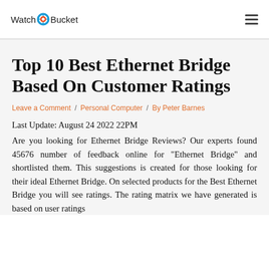WatchBucket
Top 10 Best Ethernet Bridge Based On Customer Ratings
Leave a Comment / Personal Computer / By Peter Barnes
Last Update: August 24 2022 22PM
Are you looking for Ethernet Bridge Reviews? Our experts found 45676 number of feedback online for "Ethernet Bridge" and shortlisted them. This suggestions is created for those looking for their ideal Ethernet Bridge. On selected products for the Best Ethernet Bridge you will see ratings. The rating matrix we have generated is based on user ratings